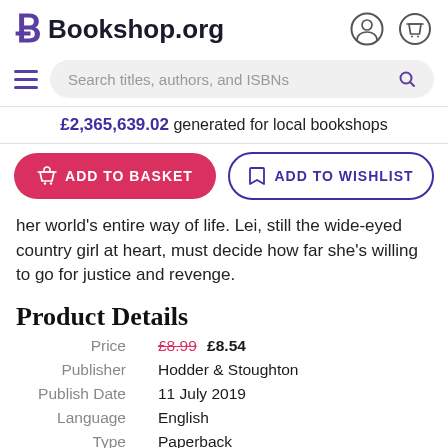Bookshop.org
Search titles, authors, and ISBNs
£2,365,639.02 generated for local bookshops
ADD TO BASKET | ADD TO WISHLIST
her world's entire way of life. Lei, still the wide-eyed country girl at heart, must decide how far she's willing to go for justice and revenge.
Product Details
|  |  |
| --- | --- |
| Price | £8.99  £8.54 |
| Publisher | Hodder & Stoughton |
| Publish Date | 11 July 2019 |
| Language | English |
| Type | Paperback |